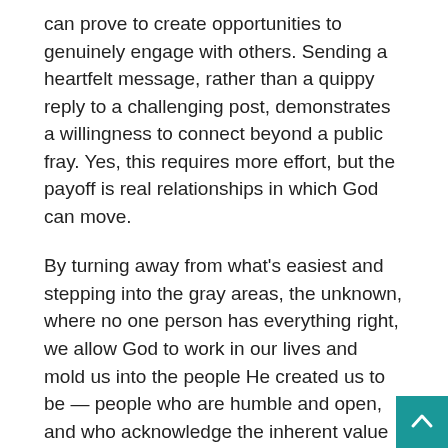can prove to create opportunities to genuinely engage with others. Sending a heartfelt message, rather than a quippy reply to a challenging post, demonstrates a willingness to connect beyond a public fray. Yes, this requires more effort, but the payoff is real relationships in which God can move.
By turning away from what's easiest and stepping into the gray areas, the unknown, where no one person has everything right, we allow God to work in our lives and mold us into the people He created us to be — people who are humble and open, and who acknowledge the inherent value of others.
Related Article: Are We Becoming Obsolete? Robot Workers and the Future of Business